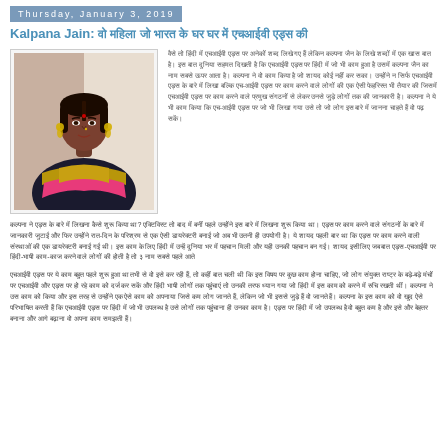Thursday, January 3, 2019
Kalpana Jain: वो महिला जो भारत के घर घर में एचआईवी एड्स की
[Figure (photo): Portrait photo of Kalpana Jain, a woman wearing a dark and gold saree with pink border and earrings]
Hindi body text describing Kalpana Jain's work on HIV AIDS awareness in India
Hindi paragraph text - second paragraph
Hindi paragraph text - third paragraph